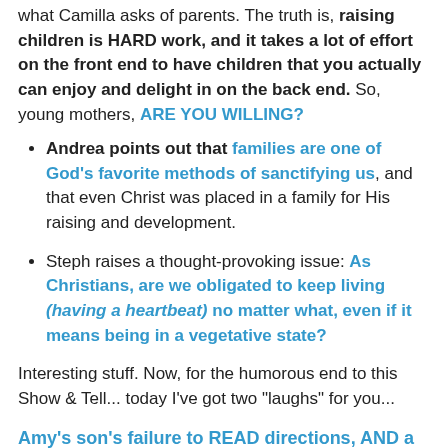what Camilla asks of parents. The truth is, raising children is HARD work, and it takes a lot of effort on the front end to have children that you actually can enjoy and delight in on the back end. So, young mothers, ARE YOU WILLING?
Andrea points out that families are one of God's favorite methods of sanctifying us, and that even Christ was placed in a family for His raising and development.
Steph raises a thought-provoking issue: As Christians, are we obligated to keep living (having a heartbeat) no matter what, even if it means being in a vegetative state?
Interesting stuff. Now, for the humorous end to this Show & Tell... today I've got two "laughs" for you...
Amy's son's failure to READ directions, AND a Wal-Mart cake decorator's failure to FOLLOW directions.
They're both hilarious-- so check em out. Happy, happy